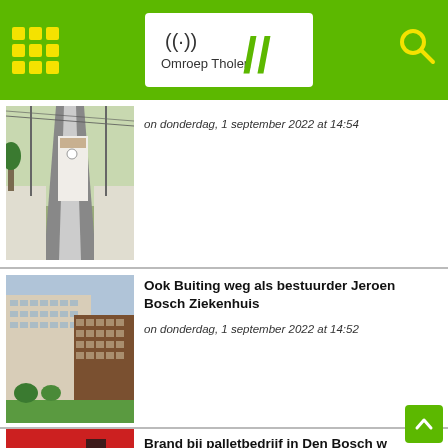Omroep Tholen — navigation header with grid menu and search icon
[Figure (photo): Train station platform with railway tracks, overhead wires, and a white building with a clock in the background]
on donderdag, 1 september 2022 at 14:54
[Figure (photo): Modern multi-storey hospital building (Jeroen Bosch Ziekenhuis) with a mix of beige and brown facade panels and rows of windows]
Ook Buiting weg als bestuurder Jeroen Bosch Ziekenhuis
on donderdag, 1 september 2022 at 14:52
[Figure (photo): Partial image of fire truck or emergency vehicle in red, with a person in dark clothing nearby]
Brand bij palletbedrijf in Den Bosch w